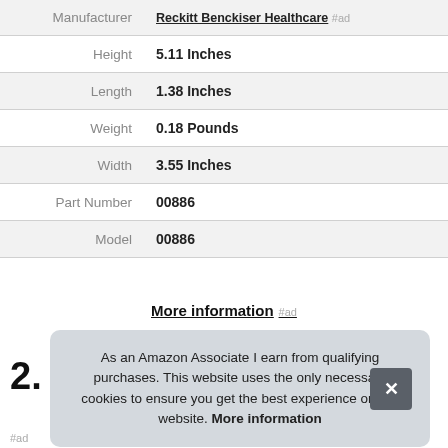| Attribute | Value |
| --- | --- |
| Manufacturer | Reckitt Benckiser Healthcare #ad |
| Height | 5.11 Inches |
| Length | 1.38 Inches |
| Weight | 0.18 Pounds |
| Width | 3.55 Inches |
| Part Number | 00886 |
| Model | 00886 |
More information #ad
2.
As an Amazon Associate I earn from qualifying purchases. This website uses the only necessary cookies to ensure you get the best experience on our website. More information
#ad